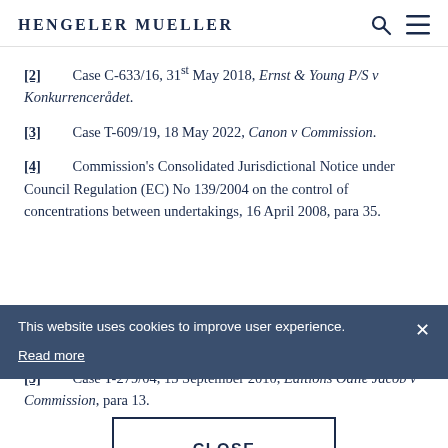Hengeler Mueller
[2]   Case C-633/16, 31st May 2018, Ernst & Young P/S v Konkurrencerådet.
[3]   Case T-609/19, 18 May 2022, Canon v Commission.
[4]   Commission's Consolidated Jurisdictional Notice under Council Regulation (EC) No 139/2004 on the control of concentrations between undertakings, 16 April 2008, para 35.
[5]   Case T-279/04, 13 September 2010, Editions Odile Jacob v Commission, para 13.
[6]   Case T-279/04, 13 September 2010, Editions